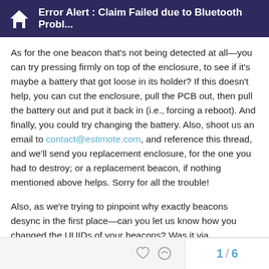Error Alert : Claim Failed due to Bluetooth Probl...
As for the one beacon that's not being detected at all—you can try pressing firmly on top of the enclosure, to see if it's maybe a battery that got loose in its holder? If this doesn't help, you can cut the enclosure, pull the PCB out, then pull the battery out and put it back in (i.e., forcing a reboot). And finally, you could try changing the battery. Also, shoot us an email to contact@estimote.com, and reference this thread, and we'll send you replacement enclosure, for the one you had to destroy; or a replacement beacon, if nothing mentioned above helps. Sorry for all the trouble!
Also, as we're trying to pinpoint why exactly beacons desync in the first place—can you let us know how you changed the UUIDs of your beacons? Was it via cloud.estimote.com + app, or in-app only?
1 / 6